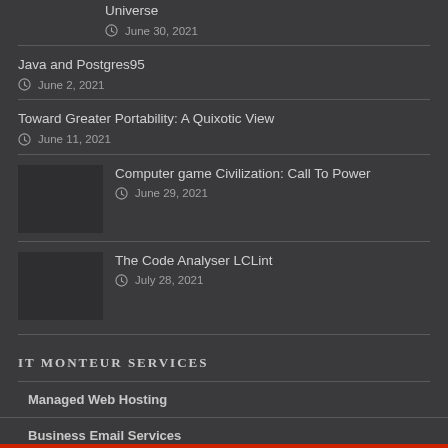Universe — June 30, 2021
Java and Postgres95 — June 2, 2021
Toward Greater Portability: A Quixotic View — June 11, 2021
Computer game Civilization: Call To Power — June 29, 2021
The Code Analyser LCLint — July 28, 2021
IT MONTEUR SERVICES
Managed Web Hosting
Business Email Services